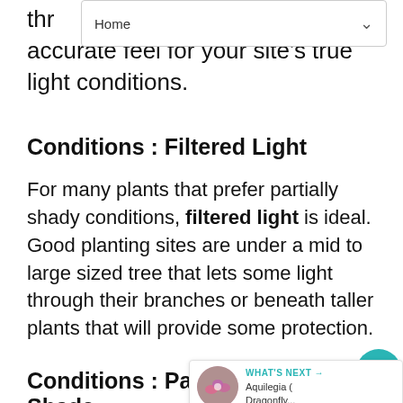Home
thr… accurate feel for your site's true light conditions.
Conditions : Filtered Light
For many plants that prefer partially shady conditions, filtered light is ideal. Good planting sites are under a mid to large sized tree that lets some light through their branches or beneath taller plants that will provide some protection.
Conditions : Partial Sun, Partial Shade
Part sun or part shade plants prefer light that…